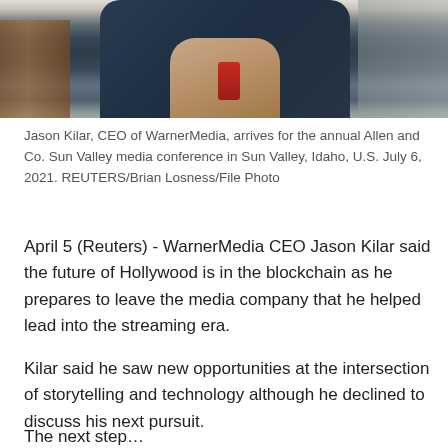[Figure (photo): Jason Kilar, CEO of WarnerMedia, arriving at the Allen and Co. Sun Valley media conference. A person in dark clothing holding a red device is partially visible.]
Jason Kilar, CEO of WarnerMedia, arrives for the annual Allen and Co. Sun Valley media conference in Sun Valley, Idaho, U.S. July 6, 2021. REUTERS/Brian Losness/File Photo
April 5 (Reuters) - WarnerMedia CEO Jason Kilar said the future of Hollywood is in the blockchain as he prepares to leave the media company that he helped lead into the streaming era.
Kilar said he saw new opportunities at the intersection of storytelling and technology although he declined to discuss his next pursuit.
The next step…